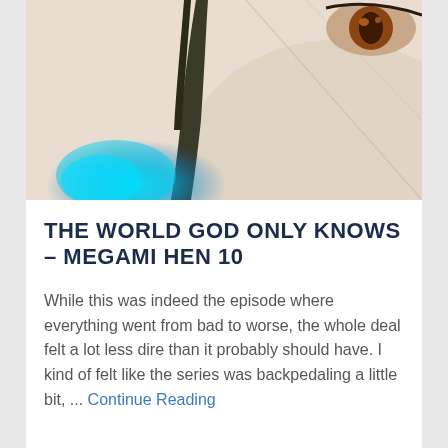[Figure (illustration): Anime-style illustration showing a character with a dark feather or wing element on the left side, blue hair/energy at bottom left, and a close-up of a brown eye in the upper right corner against a beige/cream background.]
THE WORLD GOD ONLY KNOWS – MEGAMI HEN 10
While this was indeed the episode where everything went from bad to worse, the whole deal felt a lot less dire than it probably should have. I kind of felt like the series was backpedaling a little bit, ... Continue Reading